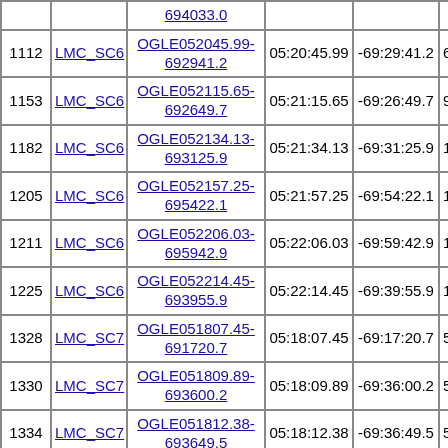| # | Field | Object | RA | Dec | Period |
| --- | --- | --- | --- | --- | --- |
|  |  | 694033.0 |  |  |  |
| 1112 | LMC_SC6 | OGLE052045.99-692941.2 | 05:20:45.99 | -69:29:41.2 | 612.4… |
| 1153 | LMC_SC6 | OGLE052115.65-692649.7 | 05:21:15.65 | -69:26:49.7 | 988.8… |
| 1182 | LMC_SC6 | OGLE052134.13-693125.9 | 05:21:34.13 | -69:31:25.9 | 1223.7… |
| 1205 | LMC_SC6 | OGLE052157.25-695422.1 | 05:21:57.25 | -69:54:22.1 | 1510.1… |
| 1211 | LMC_SC6 | OGLE052206.03-695942.9 | 05:22:06.03 | -69:59:42.9 | 1617.6… |
| 1225 | LMC_SC6 | OGLE052214.45-693955.9 | 05:22:14.45 | -69:39:55.9 | 1731.1… |
| 1328 | LMC_SC7 | OGLE051807.45-691720.7 | 05:18:07.45 | -69:17:20.7 | 502.9… |
| 1330 | LMC_SC7 | OGLE051809.89-693600.2 | 05:18:09.89 | -69:36:00.2 | 544.0… |
| 1334 | LMC_SC7 | OGLE051812.38-693649.5 | 05:18:12.38 | -69:36:49.5 | 575.8… |
| 1349 | LMC_SC7 | OGLE051820.49-693030.5 | 05:18:20.49 | -69:30:30.5 | 675.6… |
| 1350 | LMC_SC7 | OGLE051820.82- | 05:18:20.82 | -69:34:54.2 | 681.6… |